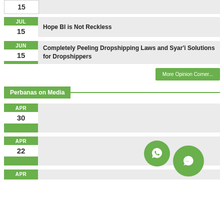15 (partial top)
JUL 15 - Hope BI is Not Reckless
JUN 15 - Completely Peeling Dropshipping Laws and Syar'i Solutions for Dropshippers
More Opinion Corner...
Perbanas on Media
APR 30
APR 22
APR